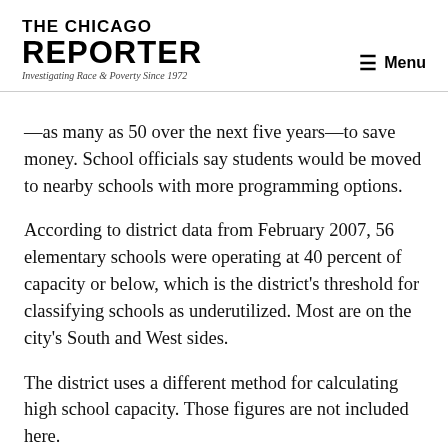THE CHICAGO REPORTER — Investigating Race & Poverty Since 1972
—as many as 50 over the next five years—to save money. School officials say students would be moved to nearby schools with more programming options.
According to district data from February 2007, 56 elementary schools were operating at 40 percent of capacity or below, which is the district's threshold for classifying schools as underutilized. Most are on the city's South and West sides.
The district uses a different method for calculating high school capacity. Those figures are not included here.